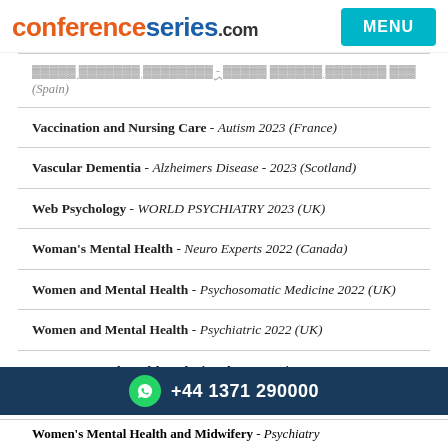conferenceseries.com MENU
(Spain)
Vaccination and Nursing Care - Autism 2023 (France)
Vascular Dementia - Alzheimers Disease - 2023 (Scotland)
Web Psychology - WORLD PSYCHIATRY 2023 (UK)
Woman's Mental Health - Neuro Experts 2022 (Canada)
Women and Mental Health - Psychosomatic Medicine 2022 (UK)
Women and Mental Health - Psychiatric 2022 (UK)
Women Mental Health and Disorders - Psychiatry
+44 1371 290000
Women's Mental Health and Midwifery - Psychiatry